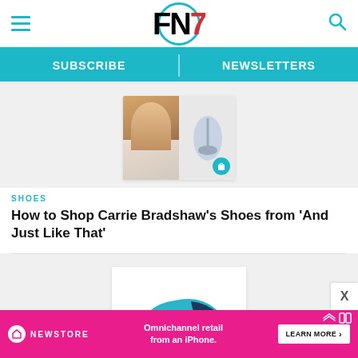FN7 — Footwear News header with hamburger menu, logo, search icon
SUBSCRIBE | NEWSLETTERS
[Figure (photo): Collage image: woman in white blouse on left, high-heel shoe on right with teal shopping bag badge]
SHOES
How to Shop Carrie Bradshaw's Shoes from 'And Just Like That'
[Figure (photo): Teal and navy sneaker/water shoe product image with teal shopping bag badge]
SHOES
NEWSTORE — Omnichannel retail from an iPhone. LEARN MORE >